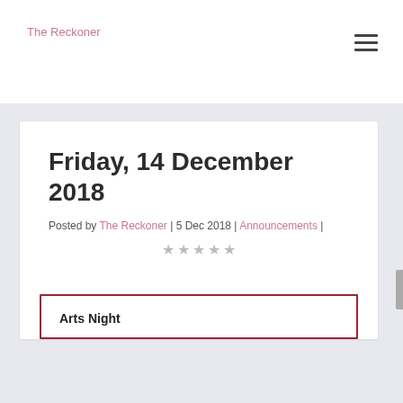The Reckoner
Friday, 14 December 2018
Posted by The Reckoner | 5 Dec 2018 | Announcements |
★★★★★
Arts Night